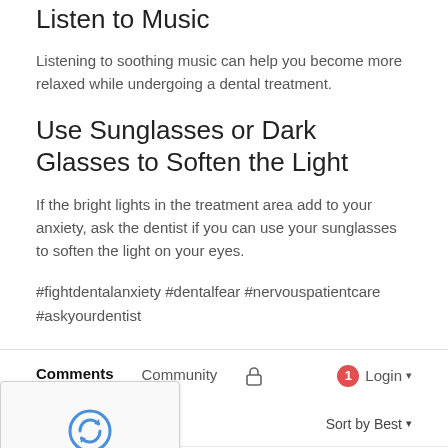Listen to Music
Listening to soothing music can help you become more relaxed while undergoing a dental treatment.
Use Sunglasses or Dark Glasses to Soften the Light
If the bright lights in the treatment area add to your anxiety, ask the dentist if you can use your sunglasses to soften the light on your eyes.
#fightdentalanxiety #dentalfear #nervouspatientcare #askyourdentist
Comments   Community   🔒   1  Login ▾
▾orite   Sort by Best ▾
the discussion...